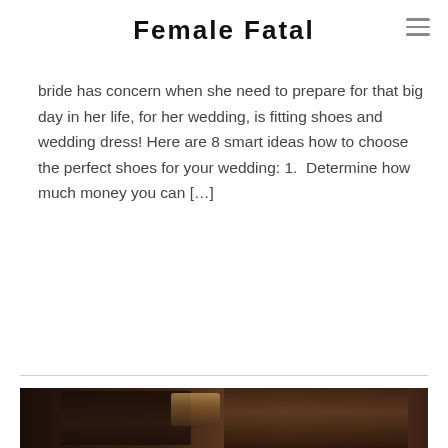Female Fatal
bride has concern when she need to prepare for that big day in her life, for her wedding, is fitting shoes and wedding dress! Here are 8 smart ideas how to choose the perfect shoes for your wedding: 1.  Determine how much money you can […]
Continue Reading →
[Figure (photo): Dark moody fashion photo showing two figures — a man on the left in shadow, a woman on the right with long hair in a dimly lit room with a decorative lamp]